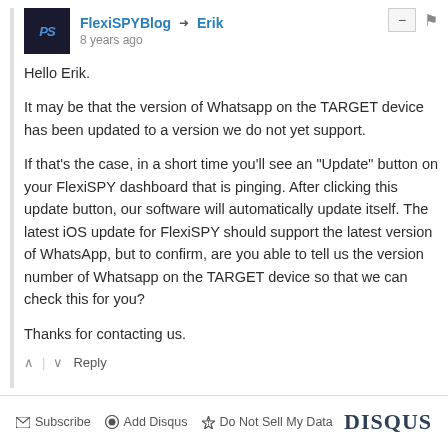FlexiSPYBlog → Erik
8 years ago
Hello Erik.

It may be that the version of Whatsapp on the TARGET device has been updated to a version we do not yet support.

If that's the case, in a short time you'll see an "Update" button on your FlexiSPY dashboard that is pinging. After clicking this update button, our software will automatically update itself. The latest iOS update for FlexiSPY should support the latest version of WhatsApp, but to confirm, are you able to tell us the version number of Whatsapp on the TARGET device so that we can check this for you?

Thanks for contacting us.
Subscribe  Add Disqus  Do Not Sell My Data  DISQUS